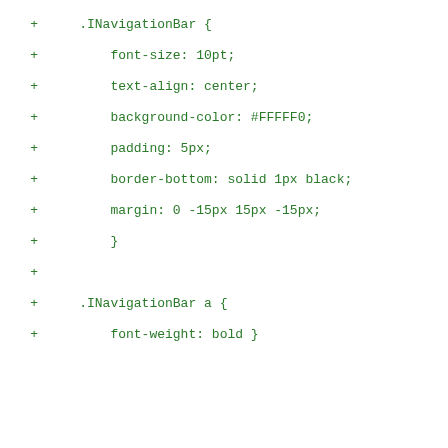+ .INavigationBar {
+     font-size: 10pt;
+     text-align: center;
+     background-color: #FFFFF0;
+     padding: 5px;
+     border-bottom: solid 1px black;
+     margin: 0 -15px 15px -15px;
+     }
+
+ .INavigationBar a {
+     font-weight: bold }